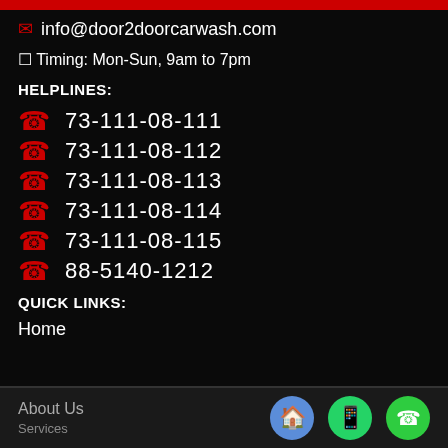info@door2doorcarwash.com
Timing: Mon-Sun, 9am to 7pm
HELPLINES:
73-111-08-111
73-111-08-112
73-111-08-113
73-111-08-114
73-111-08-115
88-5140-1212
QUICK LINKS:
Home
About Us